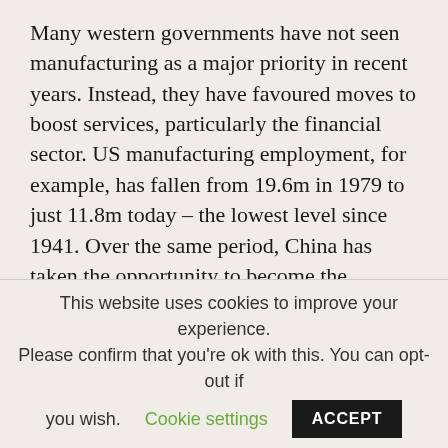Many western governments have not seen manufacturing as a major priority in recent years. Instead, they have favoured moves to boost services, particularly the financial sector. US manufacturing employment, for example, has fallen from 19.6m in 1979 to just 11.8m today – the lowest level since 1941. Over the same period, China has taken the opportunity to become the manufacturing capital of the world. Understandably, companies have preferred the more welcoming environment there, and in other emerging economies. Now, however, there are signs that the politicians'
This website uses cookies to improve your experience. Please confirm that you're ok with this. You can opt-out if you wish. Cookie settings ACCEPT